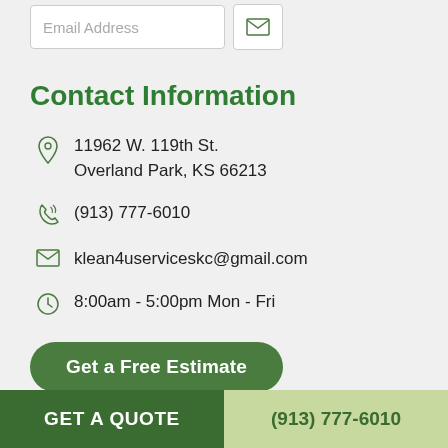Email Address
Contact Information
11962 W. 119th St. Overland Park, KS 66213
(913) 777-6010
klean4userviceskc@gmail.com
8:00am - 5:00pm Mon - Fri
Get a Free Estimate
GET A QUOTE   (913) 777-6010